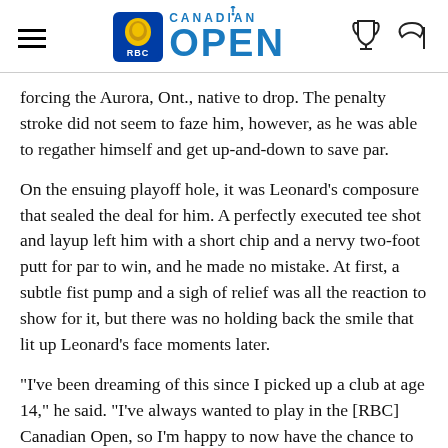RBC Canadian Open
forcing the Aurora, Ont., native to drop. The penalty stroke did not seem to faze him, however, as he was able to regather himself and get up-and-down to save par.
On the ensuing playoff hole, it was Leonard’s composure that sealed the deal for him. A perfectly executed tee shot and layup left him with a short chip and a nervy two-foot putt for par to win, and he made no mistake. At first, a subtle fist pump and a sigh of relief was all the reaction to show for it, but there was no holding back the smile that lit up Leonard’s face moments later.
“I’ve been dreaming of this since I picked up a club at age 14,” he said. “I’ve always wanted to play in the [RBC] Canadian Open, so I’m happy to now have the chance to do it.”